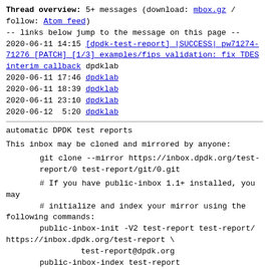Thread overview: 5+ messages (download: mbox.gz / follow: Atom feed)
-- links below jump to the message on this page --
2020-06-11 14:15 [dpdk-test-report] |SUCCESS| pw71274-71276 [PATCH] [1/3] examples/fips validation: fix TDES interim callback dpdklab
2020-06-11 17:46 dpdklab
2020-06-11 18:39 dpdklab
2020-06-11 23:10 dpdklab
2020-06-12  5:20 dpdklab
automatic DPDK test reports
This inbox may be cloned and mirrored by anyone:
git clone --mirror https://inbox.dpdk.org/test-report/0 test-report/git/0.git
# If you have public-inbox 1.1+ installed, you may
# initialize and index your mirror using the following commands:
public-inbox-init -V2 test-report test-report/
https://inbox.dpdk.org/test-report \
        test-report@dpdk.org
public-inbox-index test-report
Example config snippet for mirrors.
Newsgroup available over NNTP: